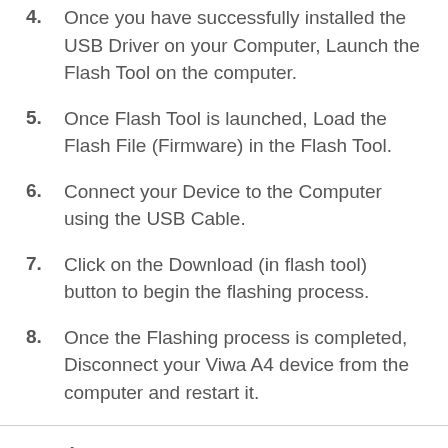4. Once you have successfully installed the USB Driver on your Computer, Launch the Flash Tool on the computer.
5. Once Flash Tool is launched, Load the Flash File (Firmware) in the Flash Tool.
6. Connect your Device to the Computer using the USB Cable.
7. Click on the Download (in flash tool) button to begin the flashing process.
8. Once the Flashing process is completed, Disconnect your Viwa A4 device from the computer and restart it.
Readme Once: